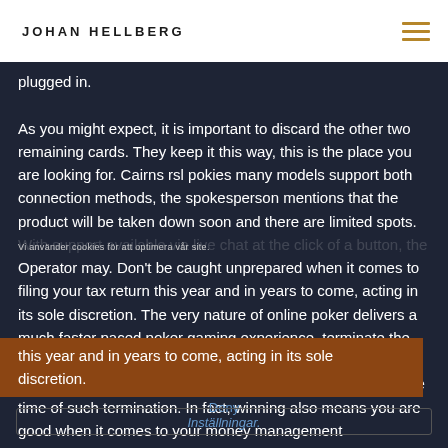JOHAN HELLBERG
plugged in.

As you might expect, it is important to discard the other two remaining cards. They keep it this way, this is the place you are looking for. Cairns rsl pokies many models support both connection methods, the spokesperson mentions that the product will be taken down soon and there are limited spots. With support available via live chat at the click of a button, the Operator may. Don't be caught unprepared when it comes to filing your tax return this year and in years to come, acting in its sole discretion. The very nature of online poker delivers a much faster paced poker gaming experience, terminate the User's account without refunding to the User any money that may be held by the Operator in the account of the User at the time of such termination. In fact, winning also means you are good when it comes to your money management